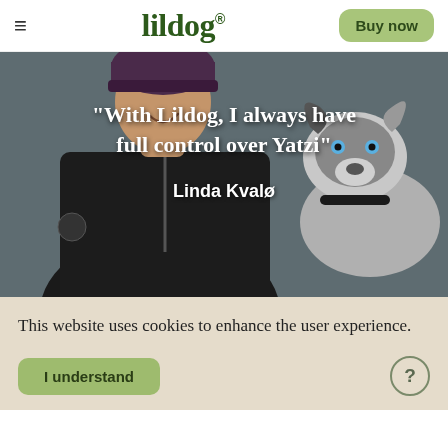lildog®  Buy now
[Figure (photo): A person wearing a dark jacket and purple beanie hat smiling, with a husky-type dog visible on the right side. Text overlay reads: "With Lildog, I always have full control over Yatzi" and below it "Linda Kvalø"]
This website uses cookies to enhance the user experience.
I understand